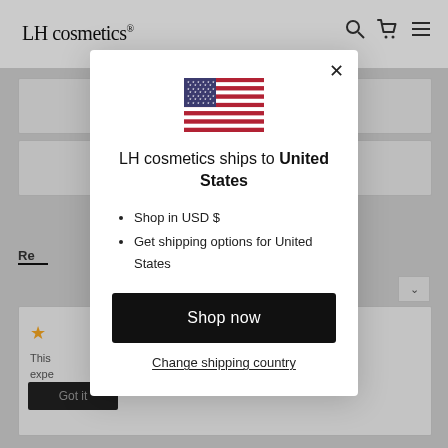[Figure (screenshot): Background website page for LH cosmetics with header, product cards, review section, greyed out behind a modal overlay.]
[Figure (illustration): United States flag SVG icon centered in the modal dialog.]
LH cosmetics ships to United States
Shop in USD $
Get shipping options for United States
Shop now
Change shipping country